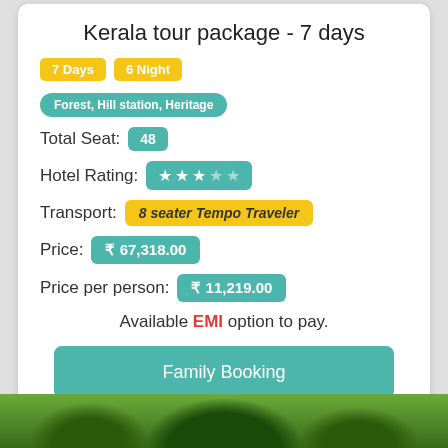Kerala tour package - 7 days
7 Days  6 Night
Forest, Hill station, Heritage
Total Seat: 48
Hotel Rating: ★★★☆☆
Transport: 8 seater Tempo Traveler
Price: ₹ 67,318.00
Price per person: ₹ 11,219.00
Available EMI option to pay.
Family Booking
[Figure (photo): Green forest/trees landscape at bottom of page]